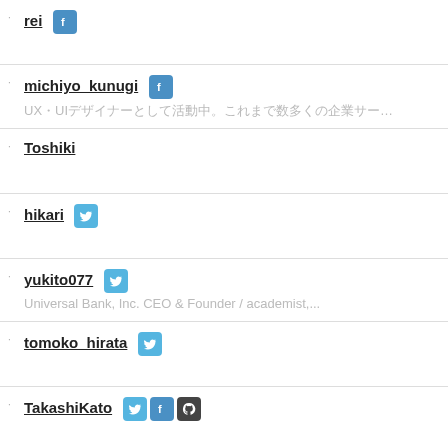rei [facebook]
michiyo_kunugi [facebook] UX・UIデザイナーとして活動中。これまで数多くの企業サービスでUXに関わ...
Toshiki
hikari [twitter]
yukito077 [twitter] Universal Bank, Inc. CEO & Founder / academist,...
tomoko_hirata [twitter]
TakashiKato [twitter][facebook][github]
maasa_uchida [twitter][facebook]